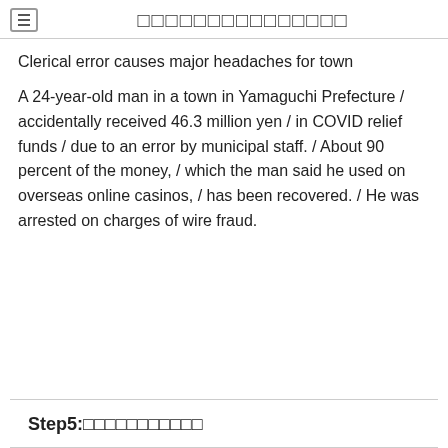□□□□□□□□□□□□□□□
Clerical error causes major headaches for town
A 24-year-old man in a town in Yamaguchi Prefecture / accidentally received 46.3 million yen / in COVID relief funds / due to an error by municipal staff. / About 90 percent of the money, / which the man said he used on overseas online casinos, / has been recovered. / He was arrested on charges of wire fraud.
Step5:□□□□□□□□□□□